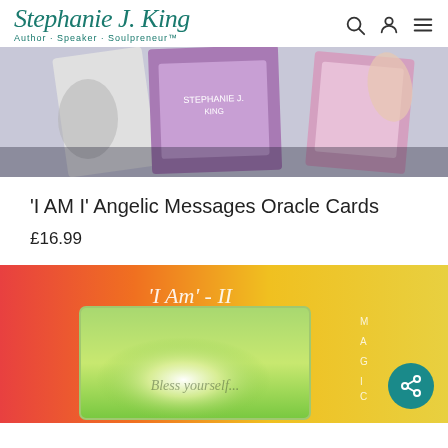Stephanie J. King — Author · Speaker · Soulpreneur™
[Figure (photo): Product photo showing oracle card decks with illustrated covers in purple, grey and blue tones]
'I AM I' Angelic Messages Oracle Cards
£16.99
[Figure (photo): Oracle card box cover showing 'I Am' - II with green and yellow glowing light background and italic text, part of a card deck collection]